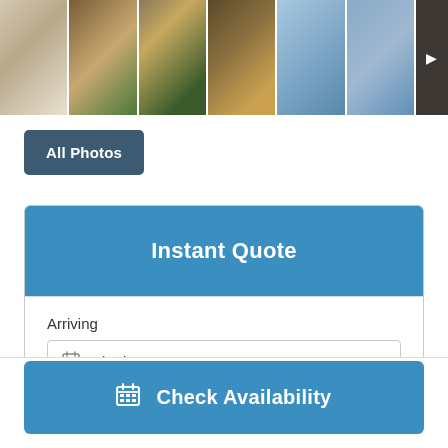[Figure (photo): Photo thumbnail strip showing interior and exterior vacation rental photos with arrow button]
All Photos
Instant Quote
Arriving
8/30/2022
Departing
9/6/2022
Check Availability